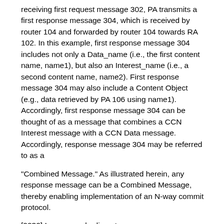receiving first request message 302, PA transmits a first response message 304, which is received by router 104 and forwarded by router 104 towards RA 102. In this example, first response message 304 includes not only a Data_name (i.e., the first content name, name1), but also an Interest_name (i.e., a second content name, name2). First response message 304 may also include a Content Object (e.g., data retrieved by PA 106 using name1). Accordingly, first response message 304 can be thought of as a message that combines a CCN Interest message with a CCN Data message. Accordingly, response message 304 may be referred to as a
"Combined Message." As illustrated herein, any response message can be a Combined Message, thereby enabling implementation of an N-way commit protocol.
[0030] In some embodiments, response message 304 is structured such that it includes a data field or information element (IE) for containing a previously requested Content Object, a content object name field or IE for containing the name of the previously requested Content Object stored in the data field, and a data request field or IE for containing